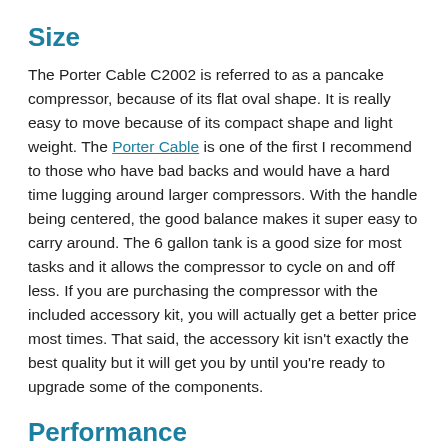Size
The Porter Cable C2002 is referred to as a pancake compressor, because of its flat oval shape. It is really easy to move because of its compact shape and light weight. The Porter Cable is one of the first I recommend to those who have bad backs and would have a hard time lugging around larger compressors. With the handle being centered, the good balance makes it super easy to carry around. The 6 gallon tank is a good size for most tasks and it allows the compressor to cycle on and off less. If you are purchasing the compressor with the included accessory kit, you will actually get a better price most times. That said, the accessory kit isn't exactly the best quality but it will get you by until you're ready to upgrade some of the components.
Performance
Performance is surprisingly good. Whether filling car tires, using a finishing nailer or small disc grinder, the Porter Cable C2002 delivers. Operating at a max of 150 PSI (with